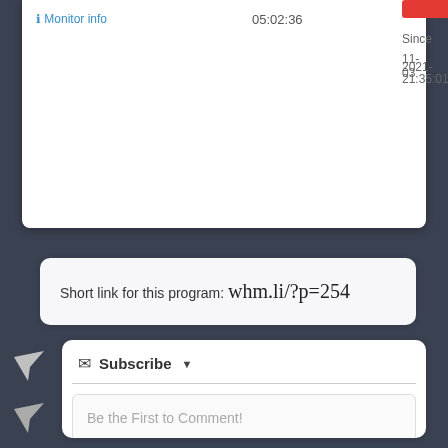Monitor info
05:02:36
Since  2021-11-03  21:35:01
Short link for this program: whm.li/?p=254
Subscribe
Be the First to Comment!